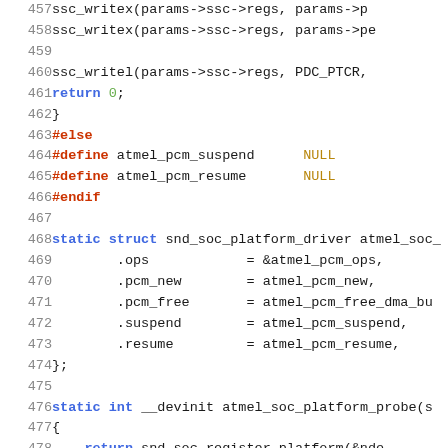Source code listing, lines 457-477+, C kernel audio driver code
457     ssc_writex(params->ssc->regs, params->p
458     ssc_writex(params->ssc->regs, params->pe
459
460     ssc_writel(params->ssc->regs, PDC_PTCR,
461     return 0;
462 }
463 #else
464 #define atmel_pcm_suspend    NULL
465 #define atmel_pcm_resume     NULL
466 #endif
467
468 static struct snd_soc_platform_driver atmel_soc_
469         .ops            = &atmel_pcm_ops,
470         .pcm_new        = atmel_pcm_new,
471         .pcm_free       = atmel_pcm_free_dma_bu
472         .suspend        = atmel_pcm_suspend,
473         .resume         = atmel_pcm_resume,
474 };
475
476 static int __devinit atmel_soc_platform_probe(s
477 {
478     return snd_soc_register_platform(&nde